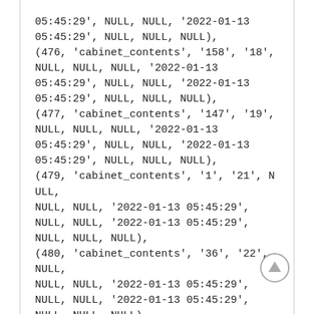05:45:29', NULL, NULL, '2022-01-13 05:45:29', NULL, NULL, NULL), (476, 'cabinet_contents', '158', '18', NULL, NULL, NULL, '2022-01-13 05:45:29', NULL, NULL, '2022-01-13 05:45:29', NULL, NULL, NULL), (477, 'cabinet_contents', '147', '19', NULL, NULL, NULL, '2022-01-13 05:45:29', NULL, NULL, '2022-01-13 05:45:29', NULL, NULL, NULL), (479, 'cabinet_contents', '1', '21', NULL, NULL, NULL, '2022-01-13 05:45:29', NULL, NULL, '2022-01-13 05:45:29', NULL, NULL, NULL), (480, 'cabinet_contents', '36', '22', NULL, NULL, NULL, '2022-01-13 05:45:29', NULL, NULL, '2022-01-13 05:45:29', NULL, NULL, NULL), (481, 'cabinet_contents', '2', '23', NULL,